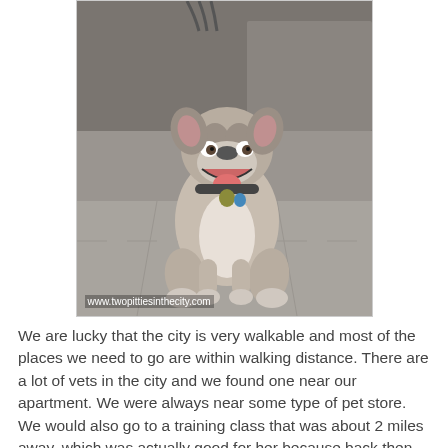[Figure (photo): A pit bull dog sitting on a sidewalk, wearing a collar with tags, mouth open in a happy expression, on a leash. Watermark reads www.twopittiesinthecity.com]
We are lucky that the city is very walkable and most of the places we need to go are within walking distance. There are a lot of vets in the city and we found one near our apartment. We were always near some type of pet store. We would also go to a training class that was about 2 miles away, which was actually good for her because back then she needed that time to work off her energy.
We are lucky enough to have a car now, which I actually